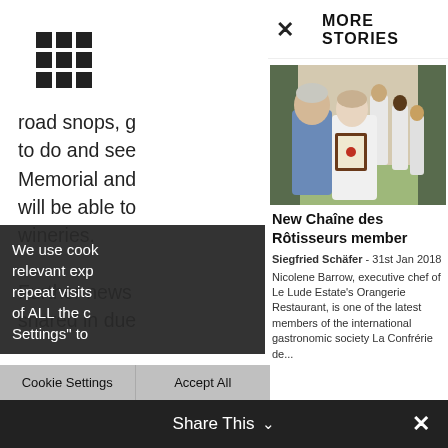[Figure (other): Grid/menu icon (3x3 dots)]
road snops, g to do and see Memorial and will be able to wineries.

Further news shared in due
MORE STORIES
[Figure (photo): Two women, one in blue denim shirt and one in white chef's uniform holding a framed certificate, with staff in background]
New Chaîne des Rôtisseurs member
Siegfried Schäfer  -  31st Jan 2018
Nicolene Barrow, executive chef of Le Lude Estate's Orangerie Restaurant, is one of the latest members of the international gastronomic society La Confrérie de...
We use cook relevant exp repeat visits of ALL the c Settings" to
Cookie Settings     Accept All
Share This  ∨